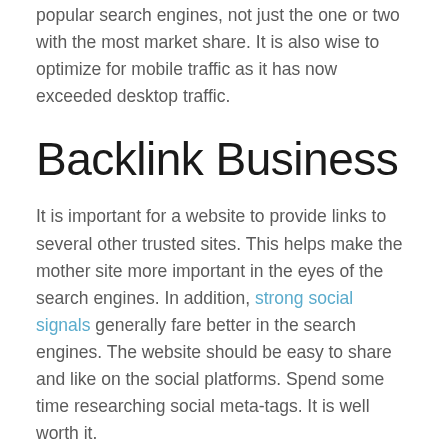popular search engines, not just the one or two with the most market share. It is also wise to optimize for mobile traffic as it has now exceeded desktop traffic.
Backlink Business
It is important for a website to provide links to several other trusted sites. This helps make the mother site more important in the eyes of the search engines. In addition, strong social signals generally fare better in the search engines. The website should be easy to share and like on the social platforms. Spend some time researching social meta-tags. It is well worth it.
KeyWords and Search Phrases